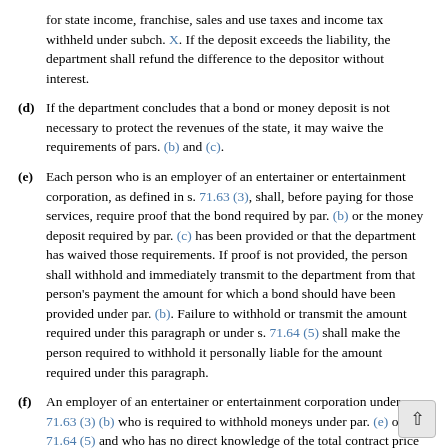for state income, franchise, sales and use taxes and income tax withheld under subch. X. If the deposit exceeds the liability, the department shall refund the difference to the depositor without interest.
(d) If the department concludes that a bond or money deposit is not necessary to protect the revenues of the state, it may waive the requirements of pars. (b) and (c).
(e) Each person who is an employer of an entertainer or entertainment corporation, as defined in s. 71.63 (3), shall, before paying for those services, require proof that the bond required by par. (b) or the money deposit required by par. (c) has been provided or that the department has waived those requirements. If proof is not provided, the person shall withhold and immediately transmit to the department from that person's payment the amount for which a bond should have been provided under par. (b). Failure to withhold or transmit the amount required under this paragraph or under s. 71.64 (5) shall make the person required to withhold it personally liable for the amount required under this paragraph.
(f) An employer of an entertainer or entertainment corporation under s. 71.63 (3) (b) who is required to withhold moneys under par. (e) or s. 71.64 (5) and who has no direct knowledge of the total contract price to be paid an entertainer or entertainment corporation is not liable under (e) if the amount withheld has not been...